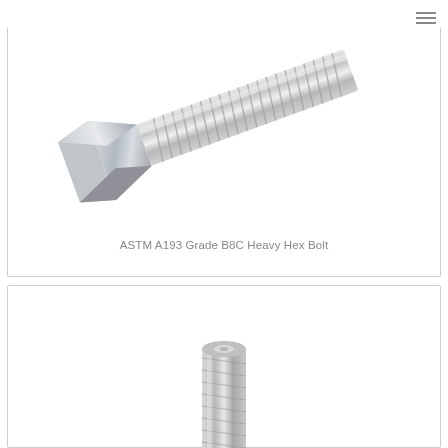[Figure (photo): Photo of an ASTM A193 Grade B8C Heavy Hex Bolt — a silver/chrome-plated hex head bolt with threaded shank, photographed at an angle against white background.]
ASTM A193 Grade B8C Heavy Hex Bolt
[Figure (photo): Photo of a second bolt/fastener product, partially visible, showing threaded shank, against white background.]